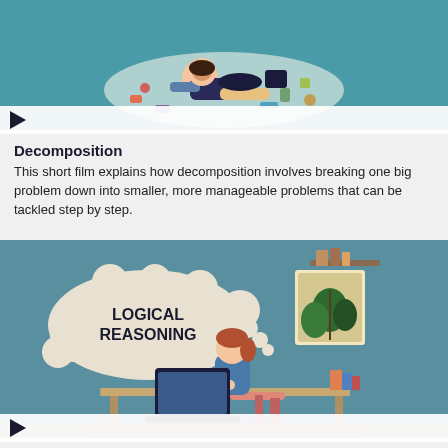[Figure (illustration): Video thumbnail showing a cartoon illustration of a person lying amid scattered items on a teal/blue background, representing decomposition of a messy problem.]
Decomposition
This short film explains how decomposition involves breaking one big problem down into smaller, more manageable problems that can be tackled step by step.
[Figure (illustration): Video thumbnail showing a cartoon illustration of a person sitting at a desk working on a laptop, with a thought bubble reading 'LOGICAL REASONING', a plant, and books on a shelf, on a teal/blue background.]
Logical reasoning